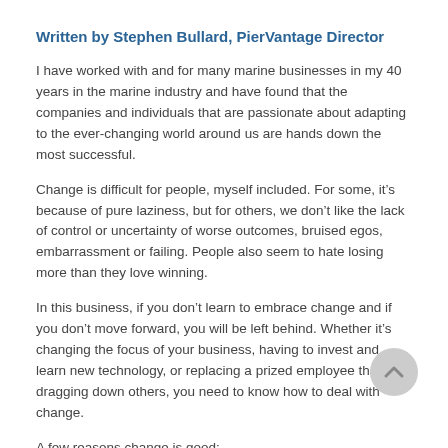Written by Stephen Bullard, PierVantage Director
I have worked with and for many marine businesses in my 40 years in the marine industry and have found that the companies and individuals that are passionate about adapting to the ever-changing world around us are hands down the most successful.
Change is difficult for people, myself included. For some, it’s because of pure laziness, but for others, we don’t like the lack of control or uncertainty of worse outcomes, bruised egos, embarrassment or failing. People also seem to hate losing more than they love winning.
In this business, if you don’t learn to embrace change and if you don’t move forward, you will be left behind. Whether it’s changing the focus of your business, having to invest and learn new technology, or replacing a prized employee that is dragging down others, you need to know how to deal with change.
A few reasons change is good:
Change occurs in everything.